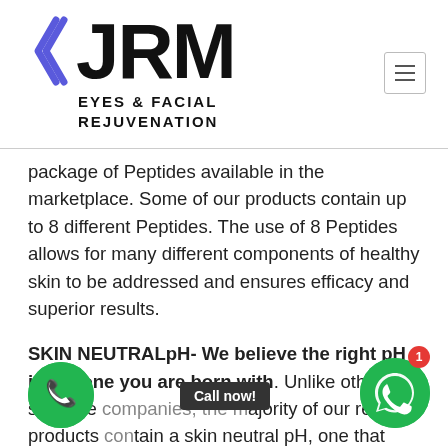[Figure (logo): JRM Eyes & Facial Rejuvenation logo with chevron/arrow icon and bold JRM text]
package of Peptides available in the marketplace. Some of our products contain up to 8 different Peptides. The use of 8 Peptides allows for many different components of healthy skin to be addressed and ensures efficacy and superior results.
SKIN NEUTRALpH- We believe the right pH is the one you are born with. Unlike other skincare [companies, the] majority of our retail products [con]tain a skin neutral pH, one that mimics you[r] own skin's pH levels, supporting long-term skin